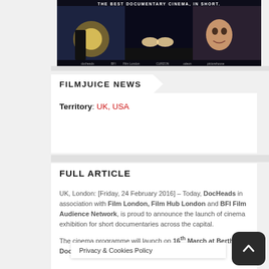[Figure (photo): FilmJuice documentary cinema banner image showing film stills and tagline: THE BEST DOCUMENTARY CINEMA, IN SHORT.]
FILMJUICE NEWS
Territory: UK, USA
FULL ARTICLE
UK, London: [Friday, 24 February 2016] – Today, DocHeads in association with Film London, Film Hub London and BFI Film Audience Network, is proud to announce the launch of cinema exhibition for short documentaries across the capital.
The cinema programme will launch on 16th March at Bertha DocHou…d
Privacy & Cookies Policy